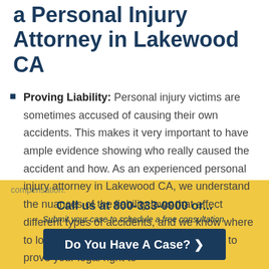a Personal Injury Attorney in Lakewood CA
Proving Liability: Personal injury victims are sometimes accused of causing their own accidents. This makes it very important to have ample evidence showing who really caused the accident and how. As an experienced personal injury attorney in Lakewood CA, we understand the nuances of the liability laws that affect different types of accidents, and we know where to look to uncover the evidence necessary to prove your legal right to compensation.
Call us at 800-333-0000 or...
Submit your case to schedule a free consultation.
Do You Have A Case? ›